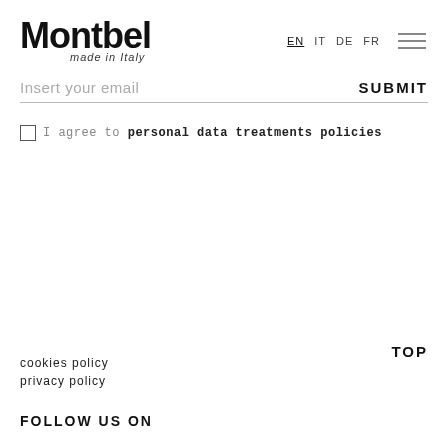Montbel made in Italy
EN IT DE FR
Insert your email SUBMIT
I agree to personal data treatments policies
cookies policy
privacy policy
TOP
FOLLOW US ON